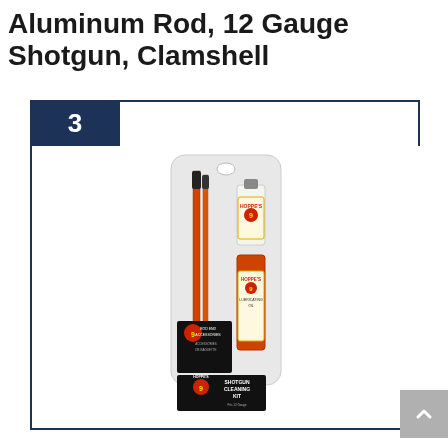Aluminum Rod, 12 Gauge Shotgun, Clamshell
[Figure (photo): Hoppe's 9 Shotgun Cleaning Kit in clamshell packaging, showing aluminum cleaning rod, cleaning patches, bore cleaner bottle, and lubricating oil bottle with Hoppe's 9 branding and black label reading SHOTGUN CLEANING KIT for 12 Gauge.]